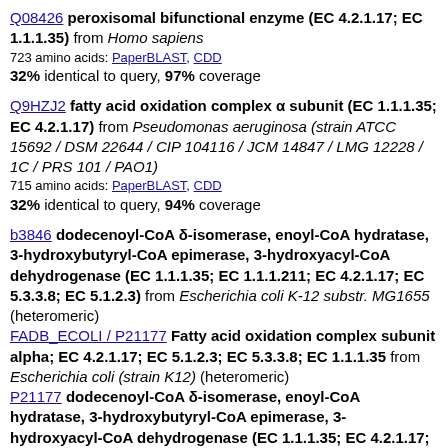Q08426 peroxisomal bifunctional enzyme (EC 4.2.1.17; EC 1.1.1.35) from Homo sapiens
723 amino acids: PaperBLAST, CDD
32% identical to query, 97% coverage
Q9HZJ2 fatty acid oxidation complex α subunit (EC 1.1.1.35; EC 4.2.1.17) from Pseudomonas aeruginosa (strain ATCC 15692 / DSM 22644 / CIP 104116 / JCM 14847 / LMG 12228 / 1C / PRS 101 / PAO1)
715 amino acids: PaperBLAST, CDD
32% identical to query, 94% coverage
b3846 dodecenoyl-CoA δ-isomerase, enoyl-CoA hydratase, 3-hydroxybutyryl-CoA epimerase, 3-hydroxyacyl-CoA dehydrogenase (EC 1.1.1.35; EC 1.1.1.211; EC 4.2.1.17; EC 5.3.3.8; EC 5.1.2.3) from Escherichia coli K-12 substr. MG1655 (heteromeric)
FADB_ECOLI / P21177 Fatty acid oxidation complex subunit alpha; EC 4.2.1.17; EC 5.1.2.3; EC 5.3.3.8; EC 1.1.1.35 from Escherichia coli (strain K12) (heteromeric)
P21177 dodecenoyl-CoA δ-isomerase, enoyl-CoA hydratase, 3-hydroxybutyryl-CoA epimerase, 3-hydroxyacyl-CoA dehydrogenase (EC 1.1.1.35; EC 4.2.1.17; EC 5.3.3.8; EC 5.1.2.3) from Escherichia coli (strain K12) (heteromeric)
729 amino acids: PaperBLAST, CDD
32% identical to query, 91% coverage